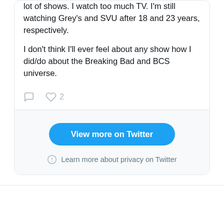lot of shows. I watch too much TV. I'm still watching Grey's and SVU after 18 and 23 years, respectively.

I don't think I'll ever feel about any show how I did/do about the Breaking Bad and BCS universe.
[Figure (screenshot): Twitter tweet interaction icons: comment bubble and heart with count 2]
View more on Twitter
Learn more about privacy on Twitter